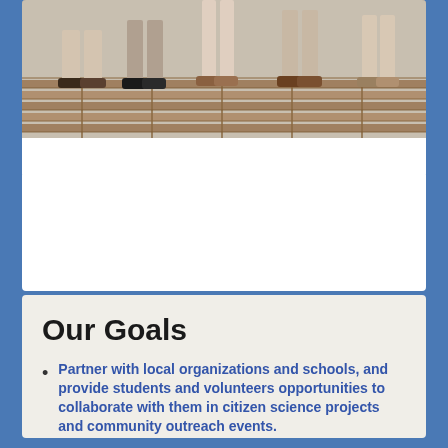[Figure (photo): Top portion of a photo showing people's feet and legs standing on a wooden deck/boardwalk, cropped at the top of the page.]
Our Goals
Partner with local organizations and schools, and provide students and volunteers opportunities to collaborate with them in citizen science projects and community outreach events.
Provide interdisciplinary research and educational opportunities to Hampden-Sydney College (H-SC) students through experiential learning and service projects.